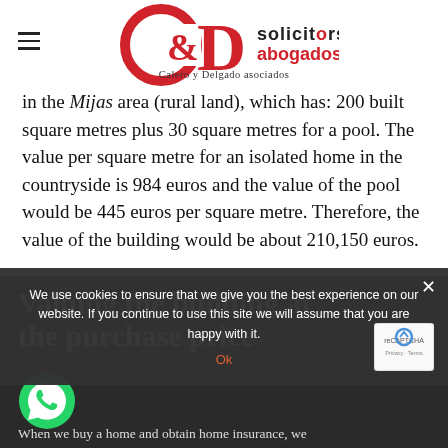[Figure (logo): C&D Solicitors Abogados logo — Calero y Delgado asociados — red circle/D letterform with text]
in the Mijas area (rural land), which has: 200 built square metres plus 30 square metres for a pool. The value per square metre for an isolated home in the countryside is 984 euros and the value of the pool would be 445 euros per square metre. Therefore, the value of the building would be about 210,150 euros.
Valuing the building at the purchase price
When we buy a home and obtain home insurance, we
We use cookies to ensure that we give you the best experience on our website. If you continue to use this site we will assume that you are happy with it.
Ok